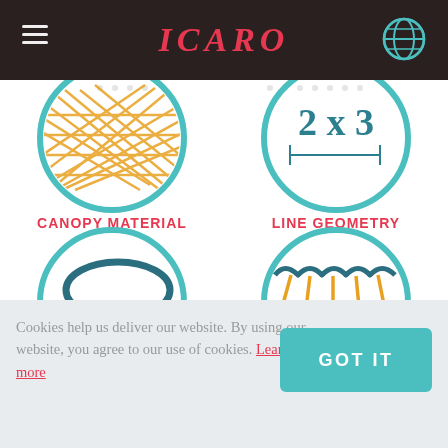ICARO
[Figure (illustration): Two circular illustrated icons. Left circle shows canopy material with yellow crosshatch diamond pattern on teal background. Right circle shows line geometry label area with '2 x 3' text and measurement lines. Below: left circle shows a knot/riser detail with yellow V-shape and dashed arc on teal circle. Right circle shows paraglider cell structure with yellow vertical lines and teal wavy fabric, labeled '36 CELLS'.]
CANOPY MATERIAL
LINE GEOMETRY
Cookies help us deliver our website. By using our website, you agree to our use of cookies. Learn more
GOT IT